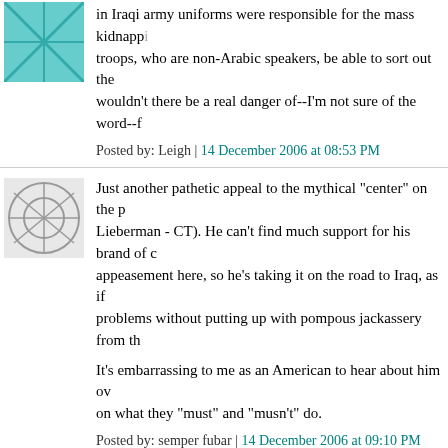in Iraqi army uniforms were responsible for the mass kidnapping... troops, who are non-Arabic speakers, be able to sort out the... wouldn't there be a real danger of--I'm not sure of the word--
Posted by: Leigh | 14 December 2006 at 08:53 PM
Just another pathetic appeal to the mythical "center" on the part of (Lieberman - CT). He can't find much support for his brand of appeasement here, so he's taking it on the road to Iraq, as if... problems without putting up with pompous jackassery from th...
It's embarrassing to me as an American to hear about him ov... on what they "must" and "musn't" do.
Posted by: semper fubar | 14 December 2006 at 09:10 PM
col. please don't confuse "us americans" with "holy joe lieber...
lieberman is very pro-israeli and he loves to posture
it's a shame he was re-elected, because of the narrow senate... he is probably more powerful than he ever has been
i can't believe the bushies are really contemplating trying to "